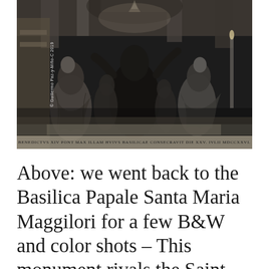[Figure (photo): Black and white photograph of baroque statues inside Basilica Papale Santa Maria Maggiori, Vatican. Multiple large stone/marble figures in dramatic poses are visible along ornate architectural elements. A photo credit reads '© Guillermo Paz-y-Miño-C 2019' on the left side. An inscription band at the bottom reads Latin text including 'CONSECRAVIT DIE XXV. IVLII MDCCXXVI']
Above: we went back to the Basilica Papale Santa Maria Maggilori for a few B&W and color shots – This monument rivals the Saint Peter's Basilica in the Vatican